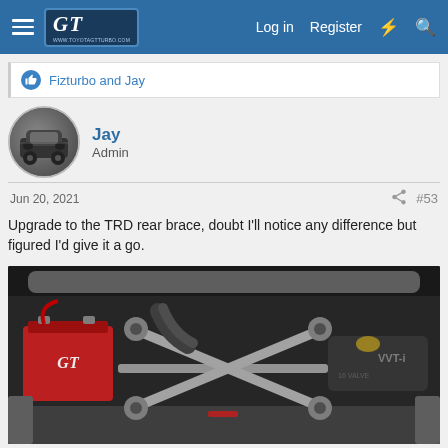GT (logo) | Log in | Register
Fizturbo and Jay
Jay
Admin
Jun 20, 2021  #53
Upgrade to the TRD rear brace, doubt I'll notice any difference but figured I'd give it a go.
[Figure (photo): Engine bay photo showing a TRD rear strut brace (X-shaped silver metal brace) mounted in the engine bay of a Toyota, with visible VVT-i engine cover, a red GT branded battery on the left, and various engine components. The brace has an X-cross pattern connecting the two front strut towers.]